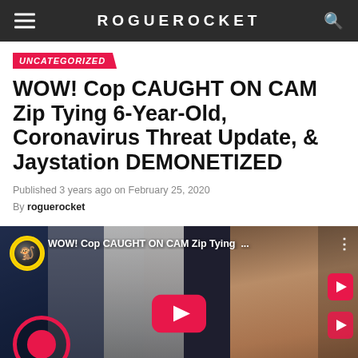ROGUEROCKET
UNCATEGORIZED
WOW! Cop CAUGHT ON CAM Zip Tying 6-Year-Old, Coronavirus Threat Update, & Jaystation DEMONETIZED
Published 3 years ago on February 25, 2020
By roguerocket
[Figure (screenshot): YouTube video thumbnail showing two men and a blurred background image. Title reads: WOW! Cop CAUGHT ON CAM Zip Tying ... with a YouTube play button in the center.]